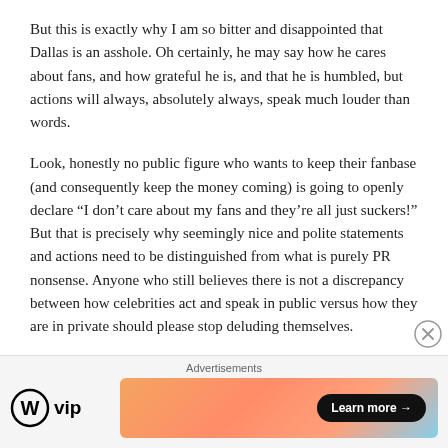But this is exactly why I am so bitter and disappointed that Dallas is an asshole. Oh certainly, he may say how he cares about fans, and how grateful he is, and that he is humbled, but actions will always, absolutely always, speak much louder than words.
Look, honestly no public figure who wants to keep their fanbase (and consequently keep the money coming) is going to openly declare “I don’t care about my fans and they’re all just suckers!” But that is precisely why seemingly nice and polite statements and actions need to be distinguished from what is purely PR nonsense. Anyone who still believes there is not a discrepancy between how celebrities act and speak in public versus how they are in private should please stop deluding themselves.
Advertisements
[Figure (logo): WordPress VIP logo with circular W icon and 'vip' text]
[Figure (illustration): Advertisement banner with orange/salmon gradient background and 'Learn more →' button]